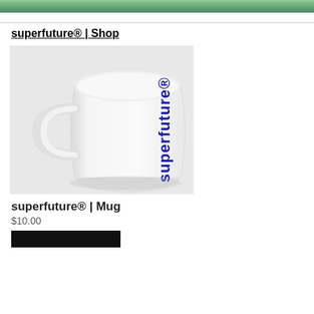[Figure (photo): Partial top banner image showing a green outdoor/nature scene, cropped at top of page]
superfuture® | Shop
[Figure (photo): White ceramic mug with 'superfuture®' printed vertically in blue text on the side, shown on white background]
superfuture® | Mug
$10.00